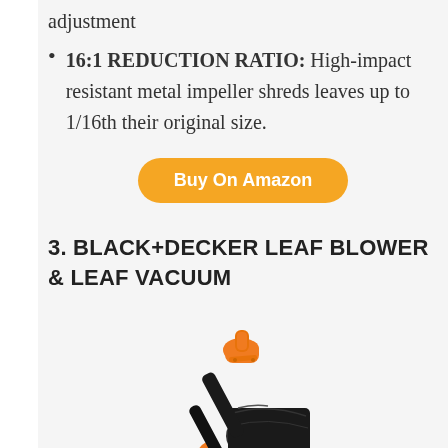adjustment
16:1 REDUCTION RATIO: High-impact resistant metal impeller shreds leaves up to 1/16th their original size.
Buy On Amazon
3. BLACK+DECKER LEAF BLOWER & LEAF VACUUM
[Figure (photo): BLACK+DECKER leaf blower and leaf vacuum product photo showing orange and black handheld blower/vacuum with black collection bag attached]